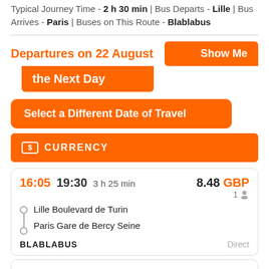Typical Journey Time - 2 h 30 min | Bus Departs - Lille | Bus Arrives - Paris | Buses on This Route - Blablabus
Departures on 22 August   Show Me the Next Day
Select a Different Date of Travel
CURRENCY
| Dep | Arr | Duration | Price | Seats | From | To | Operator | Type |
| --- | --- | --- | --- | --- | --- | --- | --- | --- |
| 16:05 | 19:30 | 3 h 25 min | 8.48 GBP | 1 | Lille Boulevard de Turin | Paris Gare de Bercy Seine | BLABLABUS | Direct |
| 16:06 | 18:47 | 2 h 41 min | 8.48 GBP | 1 | Lille Boulevard de Turin |  |  |  |